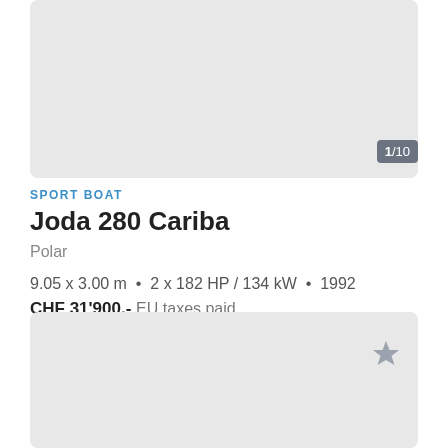[Figure (photo): Top image placeholder (light gray rectangle) for sport boat listing photo with badge 1/10]
SPORT BOAT
Joda 280 Cariba
Polar
9.05 x 3.00 m  •  2 x 182 HP / 134 kW  •  1992
CHF 31'900.-  EU taxes paid
[Figure (photo): Bottom image placeholder (light gray rectangle) for second boat listing photo with star/bookmark icon]